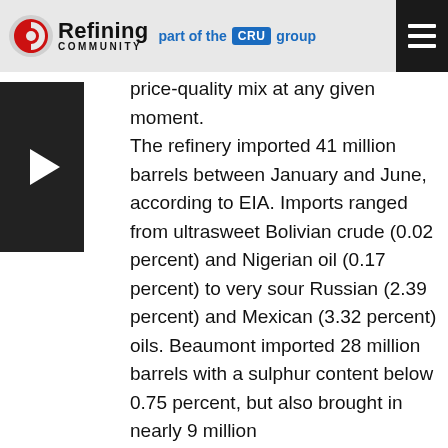Refining Community — part of the CRU group
[Figure (other): Video thumbnail with play button on left sidebar]
price-quality mix at any given moment. The refinery imported 41 million barrels between January and June, according to EIA. Imports ranged from ultrasweet Bolivian crude (0.02 percent) and Nigerian oil (0.17 percent) to very sour Russian (2.39 percent) and Mexican (3.32 percent) oils. Beaumont imported 28 million barrels with a sulphur content below 0.75 percent, but also brought in nearly 9 million barrels with high sulphur levels.